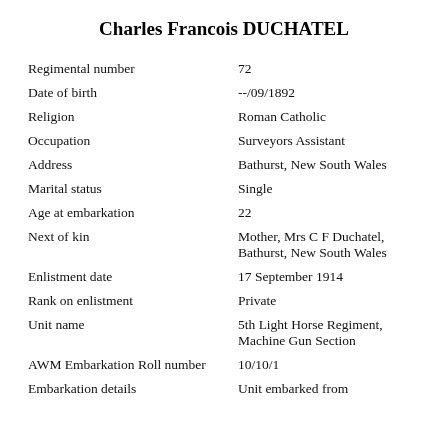Charles Francois DUCHATEL
| Field | Value |
| --- | --- |
| Regimental number | 72 |
| Date of birth | --/09/1892 |
| Religion | Roman Catholic |
| Occupation | Surveyors Assistant |
| Address | Bathurst, New South Wales |
| Marital status | Single |
| Age at embarkation | 22 |
| Next of kin | Mother, Mrs C F Duchatel, Bathurst, New South Wales |
| Enlistment date | 17 September 1914 |
| Rank on enlistment | Private |
| Unit name | 5th Light Horse Regiment, Machine Gun Section |
| AWM Embarkation Roll number | 10/10/1 |
| Embarkation details | Unit embarked from |